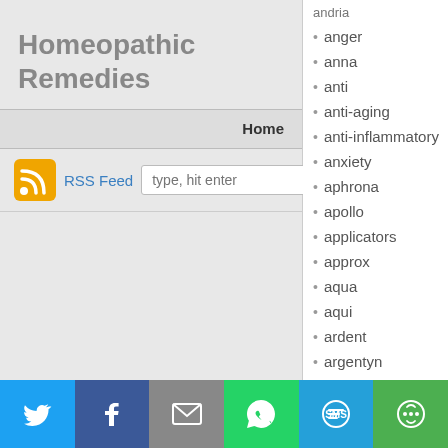Homeopathic Remedies
Home
RSS Feed  type, hit enter
anger
anna
anti
anti-aging
anti-inflammatory
anxiety
aphrona
apollo
applicators
approx
aqua
aqui
ardent
argentyn
arizer
aroma
array
arthritis
Log in